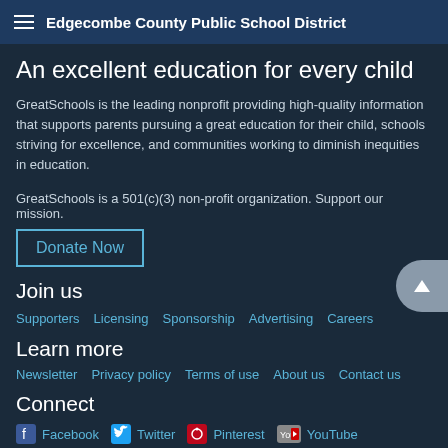Edgecombe County Public School District
An excellent education for every child
GreatSchools is the leading nonprofit providing high-quality information that supports parents pursuing a great education for their child, schools striving for excellence, and communities working to diminish inequities in education.
GreatSchools is a 501(c)(3) non-profit organization. Support our mission.
Donate Now
Join us
Supporters
Licensing
Sponsorship
Advertising
Careers
Learn more
Newsletter
Privacy policy
Terms of use
About us
Contact us
Connect
Facebook
Twitter
Pinterest
YouTube
Instagram